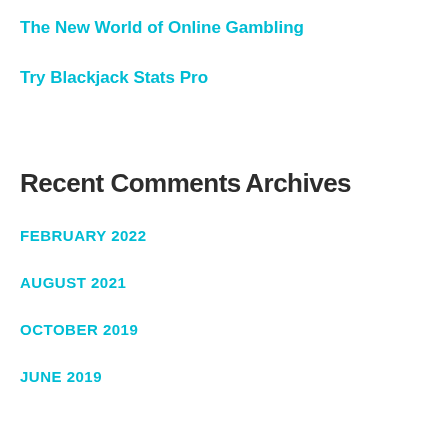The New World of Online Gambling
Try Blackjack Stats Pro
Recent Comments
Archives
FEBRUARY 2022
AUGUST 2021
OCTOBER 2019
JUNE 2019